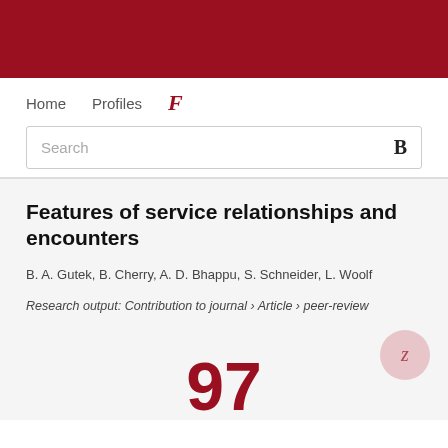Home  Profiles  F
Features of service relationships and encounters
B. A. Gutek, B. Cherry, A. D. Bhappu, S. Schneider, L. Woolf
Research output: Contribution to journal › Article › peer-review
97